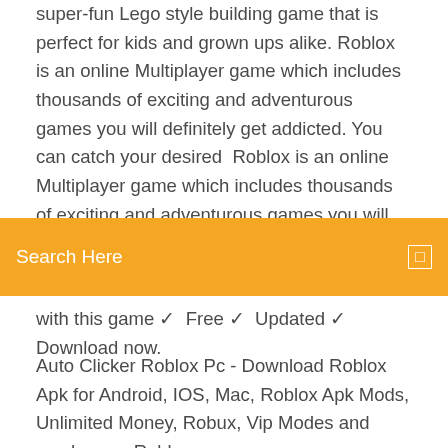super-fun Lego style building game that is perfect for kids and grown ups alike. Roblox is an online Multiplayer game which includes thousands of exciting and adventurous games you will definitely get addicted. You can catch your desired  Roblox is an online Multiplayer game which includes thousands of exciting and adventurous games you will definitely get addicted. You can
[Figure (other): Orange search bar with text 'Search Here' in white and a small white bordered square icon on the right]
with this game ✓  Free ✓  Updated ✓  Download now.
Auto Clicker Roblox Pc - Download Roblox Apk for Android, IOS, Mac, Roblox Apk Mods, Unlimited Money, Robux, Vip Modes and much more.Roblox - Wikipediahttps://en.wikipedia.org/wiki/robloxOn October 1, 2013, Roblox released its "Developer Exchange" program, allowing developers to exchange virtual Robux earned from their games into real world currencies. Roblox Hack 2018-2019 Download, Cheats and Exploits today! Learn everything there is to know...